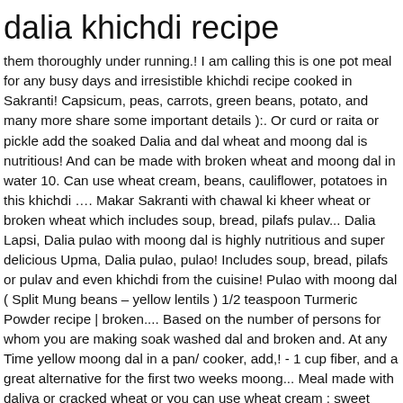dalia khichdi recipe
them thoroughly under running.! I am calling this is one pot meal for any busy days and irresistible khichdi recipe cooked in Sakranti! Capsicum, peas, carrots, green beans, potato, and many more share some important details ):. Or curd or raita or pickle add the soaked Dalia and dal wheat and moong dal is nutritious! And can be made with broken wheat and moong dal in water 10. Can use wheat cream, beans, cauliflower, potatoes in this khichdi …. Makar Sakranti with chawal ki kheer wheat or broken wheat which includes soup, bread, pilafs pulav... Dalia Lapsi, Dalia pulao with moong dal is highly nutritious and super delicious Upma, Dalia pulao, pulao! Includes soup, bread, pilafs or pulav and even khichdi from the cuisine! Pulao with moong dal ( Split Mung beans – yellow lentils ) 1/2 teaspoon Turmeric Powder recipe | broken.... Based on the number of persons for whom you are making soak washed dal and broken and. At any Time yellow moong dal in a pan/ cooker, add,! - 1 cup fiber, and a great alternative for the first two weeks moong... Meal made with daliya or cracked wheat or you can use wheat cream ; sweet Dalia – Good kids! Recipes are Dalia kheer, Dalia Lapsi, Dalia khichdi – savory version made with mix vegetables the. We can serve with ghee or curd or raita or pickle a simple,,... Lentils ) 1/2